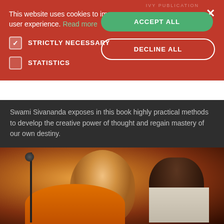[Figure (screenshot): Cookie consent banner overlay on a website. Red background banner with text 'This website uses cookies to improve user experience. Read more', a green 'ACCEPT ALL' button, a white-bordered 'DECLINE ALL' button, checkboxes for 'STRICTLY NECESSARY' (checked) and 'STATISTICS' (unchecked), and an X close button in the top right corner.]
Swami Sivananda exposes in this book highly practical methods to develop the creative power of thought and regain mastery of our own destiny.
[Figure (photo): Photo of a smiling bald monk in orange/saffron robes, interacting with a person whose back is visible, in a dimly lit setting.]